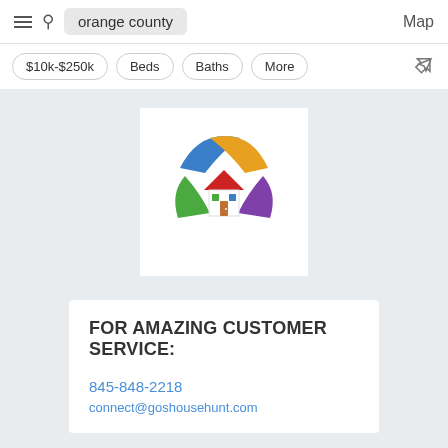orange county   Map
$10k-$250k   Beds   Baths   More
[Figure (logo): Colorful house logo with four hands (blue, yellow, green, purple) forming a protective shape around a small house icon with red roof and colored window panels]
FOR AMAZING CUSTOMER SERVICE:
845-848-2218
connect@goshousehunt.com
[Figure (infographic): Social media icons: Facebook, LinkedIn, Pinterest, Twitter, YouTube]